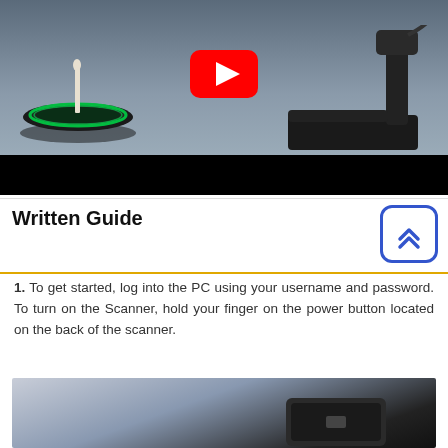[Figure (photo): A 3D scanner device with a rotating turntable base glowing green, and a scanning arm device, shown as a YouTube video thumbnail with a play button in the center.]
Written Guide
1. To get started, log into the PC using your username and password. To turn on the Scanner, hold your finger on the power button located on the back of the scanner.
[Figure (photo): Close-up photo of the back of a 3D scanner device showing a dark device body with visible power button area.]